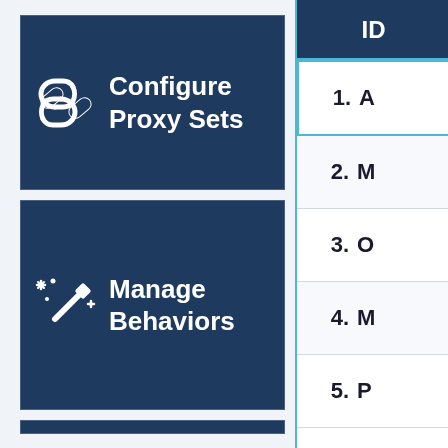[Figure (screenshot): Navigation tile with chain-link icon labeled 'Configure Proxy Sets' on dark navy background]
[Figure (screenshot): Navigation tile with magic wand/sparkle icon labeled 'Manage Behaviors' on dark navy background]
| ID |  |
| --- | --- |
| 1. | A |
| 2. | M |
| 3. | O |
| 4. | M |
| 5. | P |